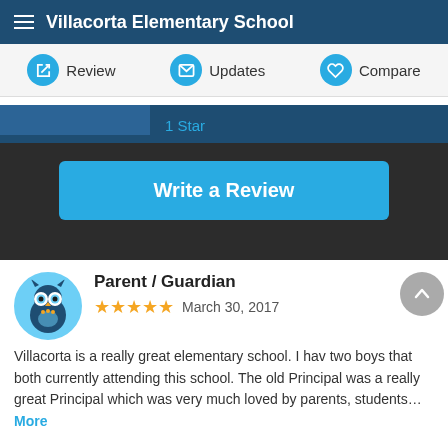Villacorta Elementary School
Review | Updates | Compare
1 Star
Write a Review
Parent / Guardian
★★★★★  March 30, 2017
Villacorta is a really great elementary school. I hav two boys that both currently attending this school. The old Principal was a really great Principal which was very much loved by parents, students... More
| Category | Score | Dots |
| --- | --- | --- |
| Homework | 5.0 | ••••• |
| Teachers | 5.0 | •••••• |
| Character | 5.0 | ••••• |
| (partial) | 5.0 |  |
| (partial) | 5.0 |  |
| (partial) | 5.0 |  |